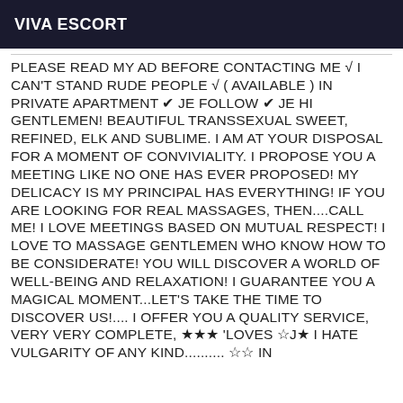VIVA ESCORT
PLEASE READ MY AD BEFORE CONTACTING ME √ I CAN'T STAND RUDE PEOPLE √ ( AVAILABLE ) IN PRIVATE APARTMENT ✔ JE FOLLOW ✔ JE HI GENTLEMEN! BEAUTIFUL TRANSSEXUAL SWEET, REFINED, ELK AND SUBLIME. I AM AT YOUR DISPOSAL FOR A MOMENT OF CONVIVIALITY. I PROPOSE YOU A MEETING LIKE NO ONE HAS EVER PROPOSED! MY DELICACY IS MY PRINCIPAL HAS EVERYTHING! IF YOU ARE LOOKING FOR REAL MASSAGES, THEN....CALL ME! I LOVE MEETINGS BASED ON MUTUAL RESPECT! I LOVE TO MASSAGE GENTLEMEN WHO KNOW HOW TO BE CONSIDERATE! YOU WILL DISCOVER A WORLD OF WELL-BEING AND RELAXATION! I GUARANTEE YOU A MAGICAL MOMENT...LET'S TAKE THE TIME TO DISCOVER US!.... I OFFER YOU A QUALITY SERVICE, VERY VERY COMPLETE, ★★★ 'LOVES ☆J★ I HATE VULGARITY OF ANY KIND.......... ☆☆ IN